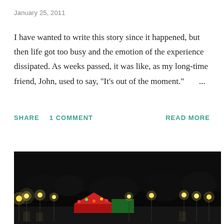January 25, 2011
I have wanted to write this story since it happened, but then life got too busy and the emotion of the experience dissipated. As weeks passed, it was like, as my long-time friend, John, used to say, "It's out of the moment." ...
SHARE   1 COMMENT   READ MORE
[Figure (photo): Night photograph showing city lights, street lamps, colorful lights and a dark sky with silhouettes of trees in the background.]